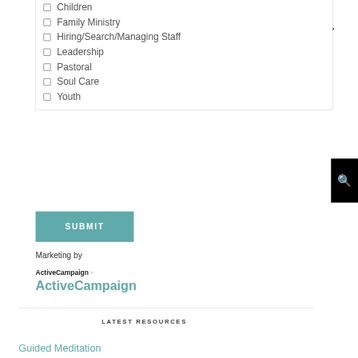☐ Children
☐ Family Ministry
☐ Hiring/Search/Managing Staff
☐ Leadership
☐ Pastoral
☐ Soul Care
☐ Youth
SUBMIT
Marketing by
ActiveCampaign > ActiveCampaign
LATEST RESOURCES
Guided Meditation